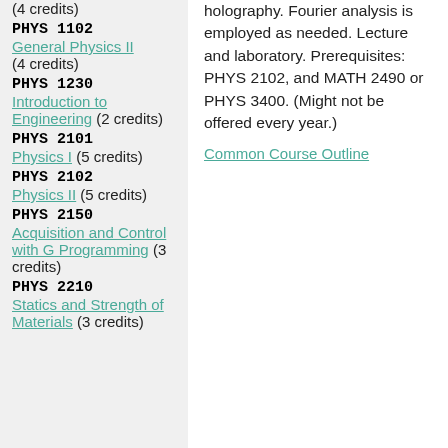(4 credits)
PHYS 1102 General Physics II (4 credits)
PHYS 1230 Introduction to Engineering (2 credits)
PHYS 2101 Physics I (5 credits)
PHYS 2102 Physics II (5 credits)
PHYS 2150 Acquisition and Control with G Programming (3 credits)
PHYS 2210 Statics and Strength of Materials (3 credits)
holography. Fourier analysis is employed as needed. Lecture and laboratory. Prerequisites: PHYS 2102, and MATH 2490 or PHYS 3400. (Might not be offered every year.)
Common Course Outline